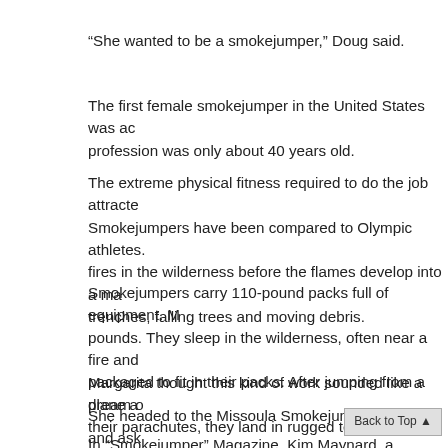“She wanted to be a smokejumper,” Doug said.
The first female smokejumper in the United States was ac… profession was only about 40 years old.
The extreme physical fitness required to do the job attracte… Smokejumpers have been compared to Olympic athletes. fires in the wilderness before the flames develop into a ma… trenches, falling trees and moving debris.
Smokejumpers carry 110-pound packs full of equipment. M… pounds. They sleep in the wilderness, often near a fire and… packaged to fit in their packs. After jumping from a plane a… their parachutes, they land in rugged terrain.
Margarita thought this kind of work sounded like a dream o…
She headed to the Missoula Smokejumpers base and ask…
In “Smokejumper” Magazine, Kim Maynard, a Missoula sm… the day she met Margarita. Margarita sai…